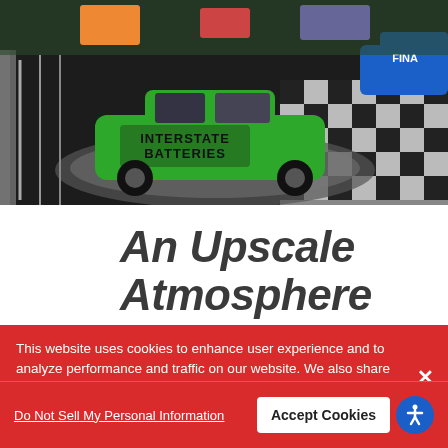[Figure (photo): Indoor NASCAR museum display showing a green Interstate Batteries sponsored stock car on a circular platform with checkered black and white tile floor. A blue FINA sponsored car is partially visible on the right.]
An Upscale Atmosphere
This website uses cookies to enhance user experience and to analyze performance and traffic on our website. We also share information about your use of our site with our social media, advertising and analytics partners. Privacy Policy
Do Not Sell My Personal Information
Accept Cookies